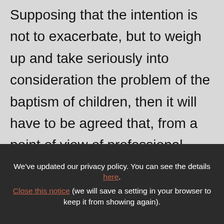Supposing that the intention is not to exacerbate, but to weigh up and take seriously into consideration the problem of the baptism of children, then it will have to be agreed that, from a point of view of professional ethics, the pastor must create the conditions typical and characteristic of a Christian setting in order that the baptism of children may be celebrated. Therefore the pastor must first endeavour to create the typical ground in order that the practice may continue according
We've updated our privacy policy. You can see the details here. Close this notice (we will save a setting in your browser to keep it from showing again).